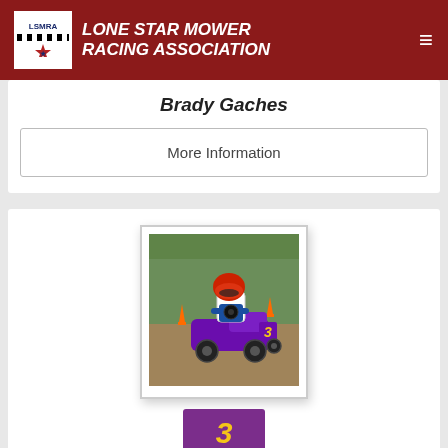Lone Star Mower Racing Association
Brady Gaches
More Information
[Figure (photo): Racer on purple racing mower number 3 on a dirt track, wearing a red helmet and white shirt]
3